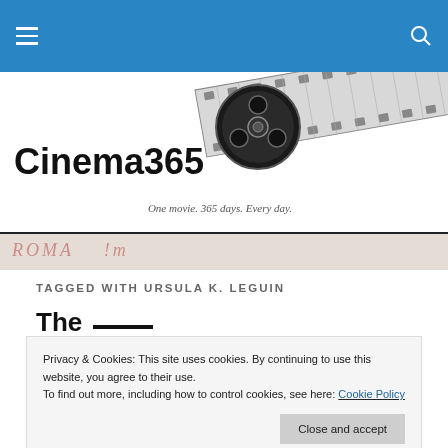Cinema365 navigation header with hamburger menu and search icon
[Figure (logo): Cinema365 logo with film reel and strip graphic, tagline: One movie. 365 days. Every day.]
[Figure (other): Decorative separator stripe with cinema-themed text overlay]
TAGGED WITH URSULA K. LEGUIN
The —
Privacy & Cookies: This site uses cookies. By continuing to use this website, you agree to their use. To find out more, including how to control cookies, see here: Cookie Policy
Close and accept